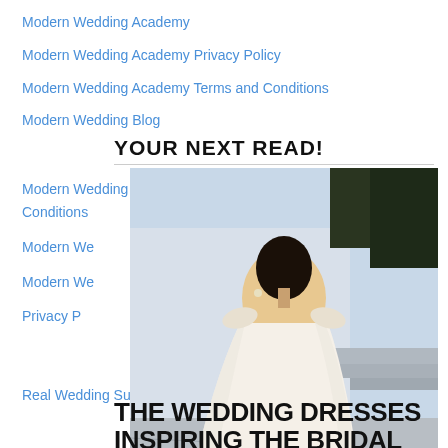Modern Wedding Academy
Modern Wedding Academy Privacy Policy
Modern Wedding Academy Terms and Conditions
Modern Wedding Blog
YOUR NEXT READ!
Modern Wedding Chateau Elan Competition Terms And Conditions
Modern W…
Modern W…
Privacy P…
[Figure (photo): Woman in a white off-shoulder lace wedding dress with train, viewed from behind, standing on an outdoor stone pathway with a building in the background]
Real Wedding Submission
THE WEDDING DRESSES INSPIRING THE BRIDAL
Sitemap